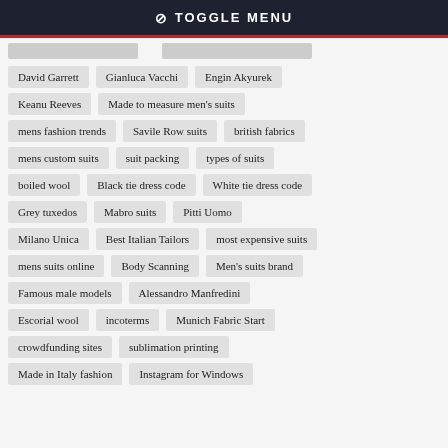⊘ TOGGLE MENU
David Garrett
Gianluca Vacchi
Engin Akyurek
Keanu Reeves
Made to measure men's suits
mens fashion trends
Savile Row suits
british fabrics
mens custom suits
suit packing
types of suits
boiled wool
Black tie dress code
White tie dress code
Grey tuxedos
Mabro suits
Pitti Uomo
Milano Unica
Best Italian Tailors
most expensive suits
mens suits online
Body Scanning
Men's suits brand
Famous male models
Alessandro Manfredini
Escorial wool
incoterms
Munich Fabric Start
crowdfunding sites
sublimation printing
Made in Italy fashion
Instagram for Windows